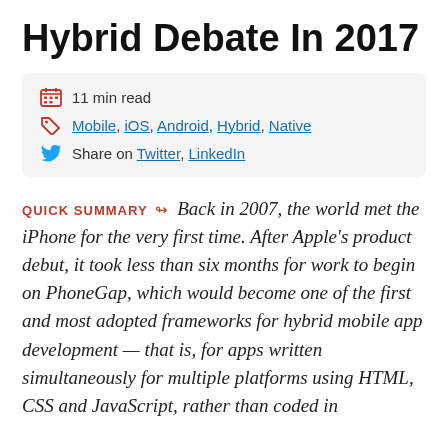Hybrid Debate In 2017
11 min read
Mobile, iOS, Android, Hybrid, Native
Share on Twitter, LinkedIn
QUICK SUMMARY ↬ Back in 2007, the world met the iPhone for the very first time. After Apple's product debut, it took less than six months for work to begin on PhoneGap, which would become one of the first and most adopted frameworks for hybrid mobile app development — that is, for apps written simultaneously for multiple platforms using HTML, CSS and JavaScript, rather than coded in